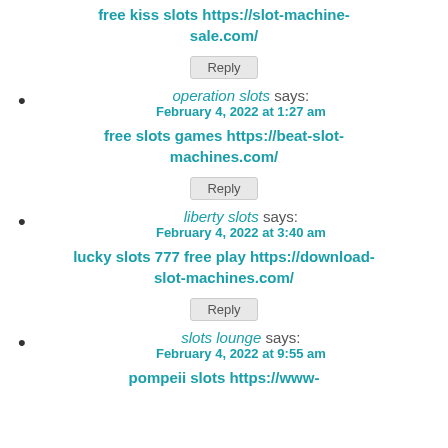free kiss slots https://slot-machine-sale.com/
Reply
operation slots says: February 4, 2022 at 1:27 am
free slots games https://beat-slot-machines.com/
Reply
liberty slots says: February 4, 2022 at 3:40 am
lucky slots 777 free play https://download-slot-machines.com/
Reply
slots lounge says: February 4, 2022 at 9:55 am
pompeii slots https://www-